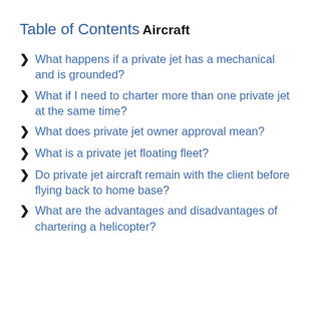Table of Contents
Aircraft
What happens if a private jet has a mechanical and is grounded?
What if I need to charter more than one private jet at the same time?
What does private jet owner approval mean?
What is a private jet floating fleet?
Do private jet aircraft remain with the client before flying back to home base?
What are the advantages and disadvantages of chartering a helicopter?